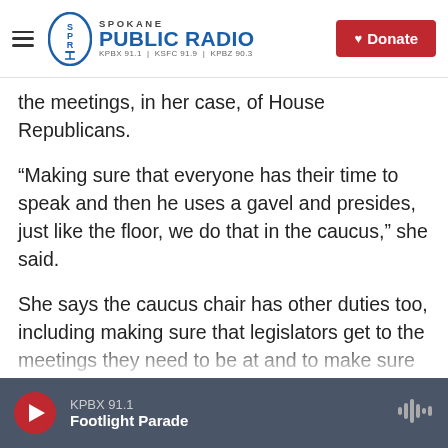Spokane Public Radio — KPBX 91.1 | KSFC 91.9 | KPBZ 90.3
the meetings, in her case, of House Republicans.
“Making sure that everyone has their time to speak and then he uses a gavel and presides, just like the floor, we do that in the caucus,” she said.
She says the caucus chair has other duties too, including making sure that legislators get to the meetings they need to be at and to make sure they’re prepared.
“There’s a lot of conversation that occurs with your caucus, explaining fully the benefits or the negative
KPBX 91.1 — Footlight Parade